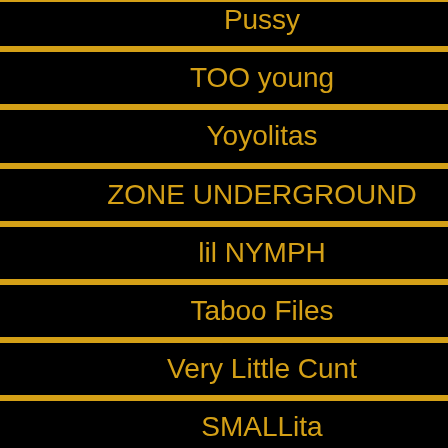Pussy
TOO young
Yoyolitas
ZONE UNDERGROUND
lil NYMPH
Taboo Files
Very Little Cunt
SMALLita
Forbidden Doll
Barely legal d4rk
tiny DOLL